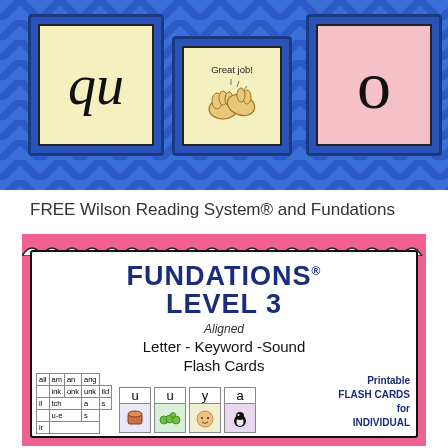[Figure (illustration): Blue chevron background with three flashcards showing 'qu' on yellow card, 'Great job!' with clapping hands on yellow card, and 'o' on a pink card]
FREE Wilson Reading System® and Fundations
[Figure (illustration): Fundations Level 3 Aligned Letter-Keyword-Sound Flash Cards product cover with pink scallop border, showing mini word cards (all, am, an, ang, ink, onk, unk, ild, etc.), letter cards with u, u, y, a, and text 'Printable FLASH CARDS for INDIVIDUAL']